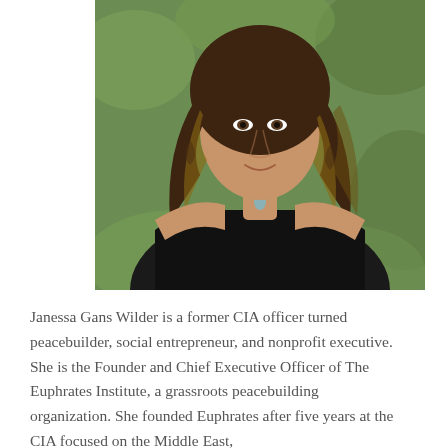[Figure (photo): Professional headshot of Janessa Gans Wilder, a woman with long curly brown and blonde highlighted hair, wearing a black sleeveless v-neck top and a necklace, photographed outdoors with green foliage in the background.]
Janessa Gans Wilder is a former CIA officer turned peacebuilder, social entrepreneur, and nonprofit executive. She is the Founder and Chief Executive Officer of The Euphrates Institute, a grassroots peacebuilding organization. She founded Euphrates after five years at the CIA focused on the Middle East,